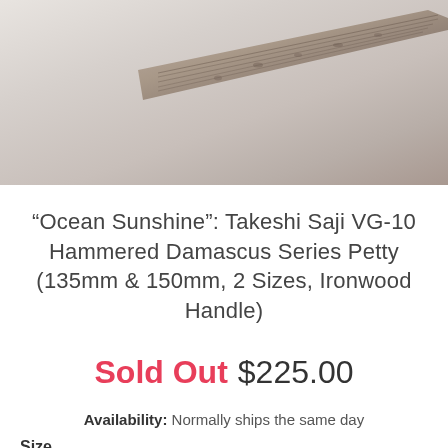[Figure (photo): Close-up photo of a Damascus steel knife blade tip against a white/light grey background. The blade shows hammered Damascus pattern with dark grey metallic texture.]
“Ocean Sunshine”: Takeshi Saji VG-10 Hammered Damascus Series Petty (135mm & 150mm, 2 Sizes, Ironwood Handle)
Sold Out $225.00
Availability: Normally ships the same day
Size
SDO-2l Petty 135mm (5.3 inch)